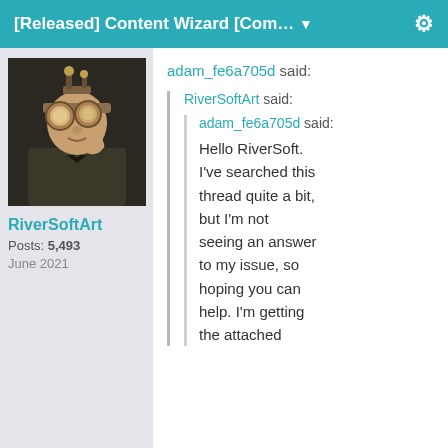[Released] Content Wizard [Com... ▼
[Figure (photo): Avatar photo of a person wearing steampunk-style goggles and headgear]
RiverSoftArt
Posts: 5,493
June 2021
adam_fe6a705d said:
RiverSoftArt said:
adam_fe6a705d said:
Hello RiverSoft. I've searched this thread quite a bit, but I'm not seeing an answer to my issue, so hoping you can help. I'm getting the attached